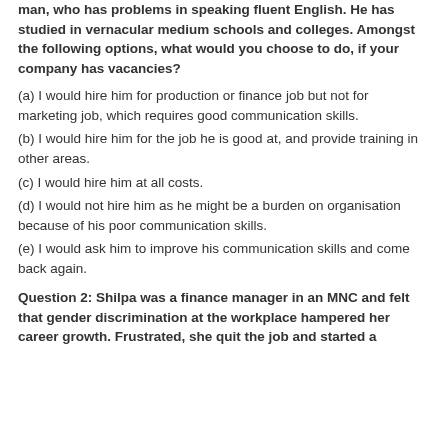man, who has problems in speaking fluent English. He has studied in vernacular medium schools and colleges. Amongst the following options, what would you choose to do, if your company has vacancies?
(a) I would hire him for production or finance job but not for marketing job, which requires good communication skills.
(b) I would hire him for the job he is good at, and provide training in other areas.
(c) I would hire him at all costs.
(d) I would not hire him as he might be a burden on organisation because of his poor communication skills.
(e) I would ask him to improve his communication skills and come back again.
Question 2: Shilpa was a finance manager in an MNC and felt that gender discrimination at the workplace hampered her career growth. Frustrated, she quit the job and started a